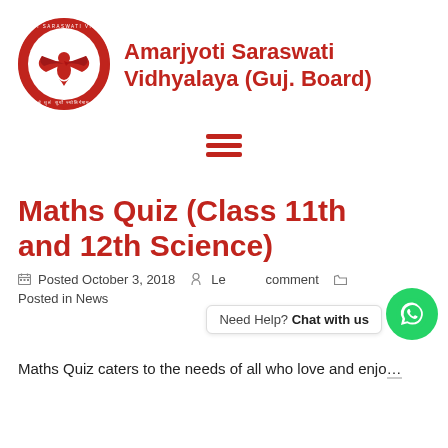[Figure (logo): Circular red logo of Amarjyoti Saraswati Vidhyalaya with an eagle/bird emblem in the center and text around the border]
Amarjyoti Saraswati Vidhyalaya (Guj. Board)
[Figure (other): Hamburger menu icon with three horizontal red bars]
Maths Quiz (Class 11th and 12th Science)
Posted October 3, 2018   Leave a comment   Posted in News
Maths Quiz caters to the needs of all who love and enjo...